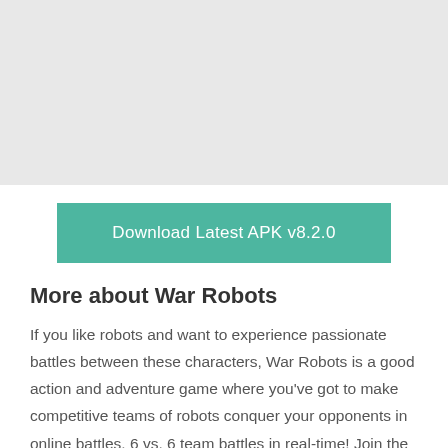[Figure (other): Gray placeholder image area at the top of the page]
[Figure (other): Teal/green download button reading 'Download Latest APK v8.2.0']
More about War Robots
If you like robots and want to experience passionate battles between these characters, War Robots is a good action and adventure game where you've got to make competitive teams of robots conquer your opponents in online battles. 6 vs. 6 team battles in real-time! Join the ranks of the Metal Warriors!